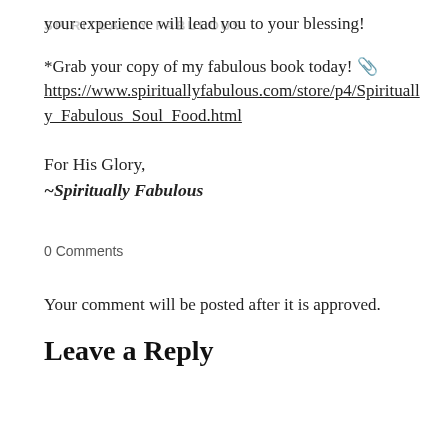your experience will lead you to your blessing!
*Grab your copy of my fabulous book today! 🙂 https://www.spirituallyfabulous.com/store/p4/Spiritually_Fabulous_Soul_Food.html
For His Glory,
~Spiritually Fabulous
0 Comments
Your comment will be posted after it is approved.
Leave a Reply